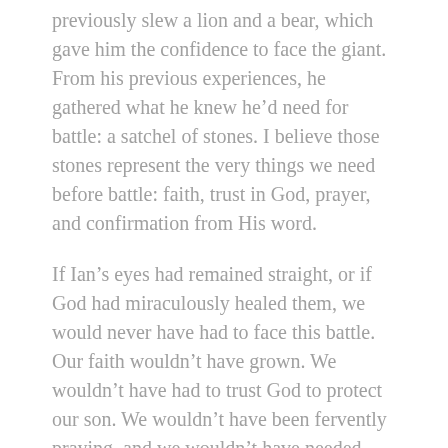previously slew a lion and a bear, which gave him the confidence to face the giant. From his previous experiences, he gathered what he knew he’d need for battle: a satchel of stones. I believe those stones represent the very things we need before battle: faith, trust in God, prayer, and confirmation from His word.
If Ian’s eyes had remained straight, or if God had miraculously healed them, we would never have had to face this battle. Our faith wouldn’t have grown. We wouldn’t have had to trust God to protect our son. We wouldn’t have been fervently praying, and we wouldn’t have needed God’s confirmation.
I also loved how this reference to David aligned to something else I believe the Holy Spirit spoke to me soon after JW came back home. He told me there